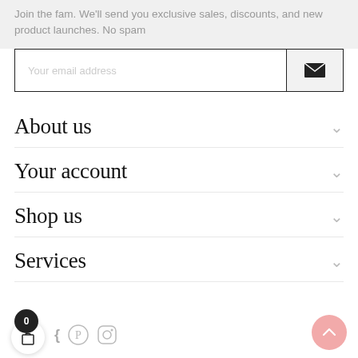Join the fam. We'll send you exclusive sales, discounts, and new product launches. No spam
[Figure (screenshot): Email input field with placeholder 'Your email address' and a dark envelope/send button on the right]
About us
Your account
Shop us
Services
[Figure (screenshot): Bottom navigation bar with cart badge showing 0, shopping bag icon, Pinterest icon, Instagram icon, and a pink back-to-top button]